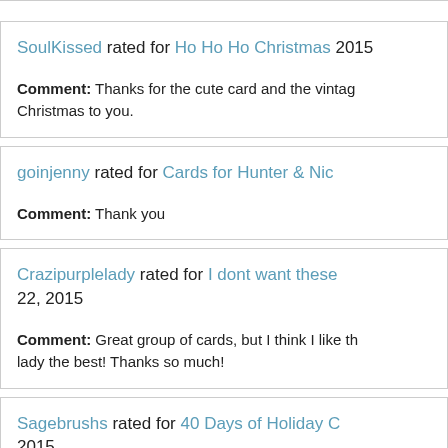SoulKissed rated for Ho Ho Ho Christmas 2015
Comment: Thanks for the cute card and the vintage Christmas to you.
goinjenny rated for Cards for Hunter & Nic
Comment: Thank you
Crazipurplelady rated for I dont want these 22, 2015
Comment: Great group of cards, but I think I like the lady the best! Thanks so much!
Sagebrushs rated for 40 Days of Holiday C 2015
Comment: Happy Holidays.